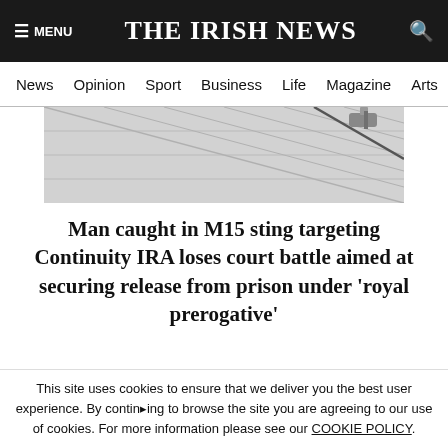☰ MENU  THE IRISH NEWS  🔍
News  Opinion  Sport  Business  Life  Magazine  Arts
[Figure (photo): Partial view of a building exterior showing tiled/paneled facade with diagonal lines and a metal fixture or camera mount visible in upper right area.]
Man caught in M15 sting targeting Continuity IRA loses court battle aimed at securing release from prison under 'royal prerogative'
This site uses cookies to ensure that we deliver you the best user experience. By continuing to browse the site you are agreeing to our use of cookies. For more information please see our COOKIE POLICY.